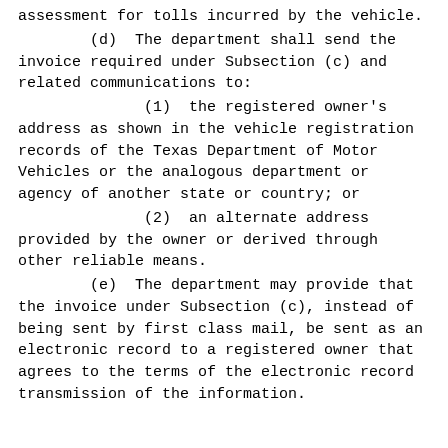assessment for tolls incurred by the vehicle.
(d)  The department shall send the invoice required under Subsection (c) and related communications to:
(1)  the registered owner's address as shown in the vehicle registration records of the Texas Department of Motor Vehicles or the analogous department or agency of another state or country; or
(2)  an alternate address provided by the owner or derived through other reliable means.
(e)  The department may provide that the invoice under Subsection (c), instead of being sent by first class mail, be sent as an electronic record to a registered owner that agrees to the terms of the electronic record transmission of the information.